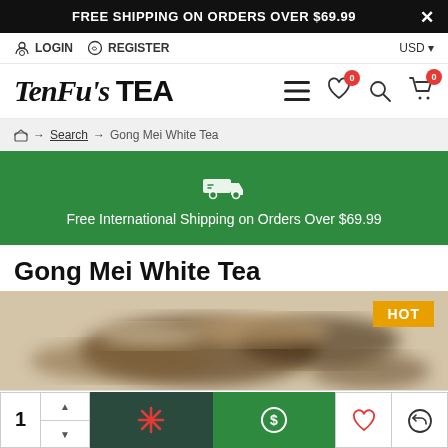FREE SHIPPING ON ORDERS OVER $69.99
LOGIN   REGISTER   USD
[Figure (logo): TenFu's TEA logo with navigation icons including hamburger menu, heart with badge 0, search, and cart with badge 0]
Home → Search → Gong Mei White Tea
Free International Shipping on Orders Over $69.99
Gong Mei White Tea
[Figure (photo): Close-up product photo of Gong Mei White Tea leaves, with a HOT badge in the top right corner]
1  [add to cart buttons]  [wishlist] [compare]